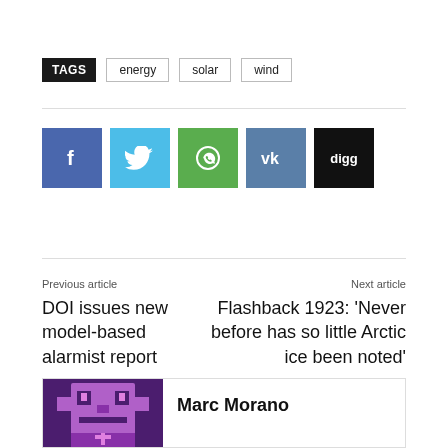TAGS  energy  solar  wind
[Figure (infographic): Social share buttons: Facebook (blue), Twitter (cyan), WhatsApp (green), VK (steel blue), Digg (black)]
Previous article
DOI issues new model-based alarmist report
Next article
Flashback 1923: ‘Never before has so little Arctic ice been noted’
[Figure (photo): Pixel art avatar of Marc Morano on purple background]
Marc Morano